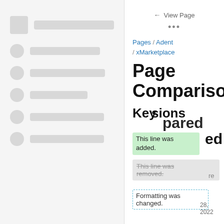[Figure (screenshot): Left panel showing a skeleton UI with a square icon and long bar at top, followed by 5 rows each with a circle and a bar, all in light gray on a light background.]
← View Page
•••
Pages / Adent / xMarketplace
Page Comparison
Key
Versions
This line was added.
compared
This line was removed.
re
Formatting was changed.
28, 2022